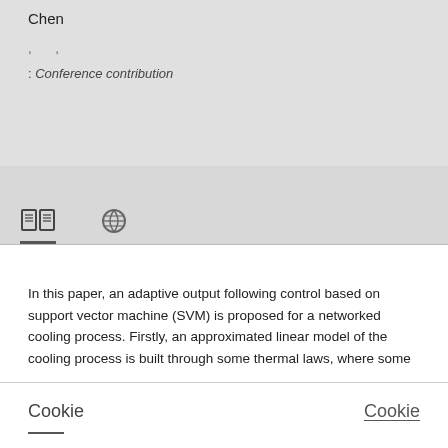Chen
, ,
: Conference contribution
[Figure (other): Navigation tabs with book icon (active, underlined) and globe/spiral icon]
In this paper, an adaptive output following control based on support vector machine (SVM) is proposed for a networked cooling process. Firstly, an approximated linear model of the cooling process is built through some thermal laws, where some
Cookie
Cookie